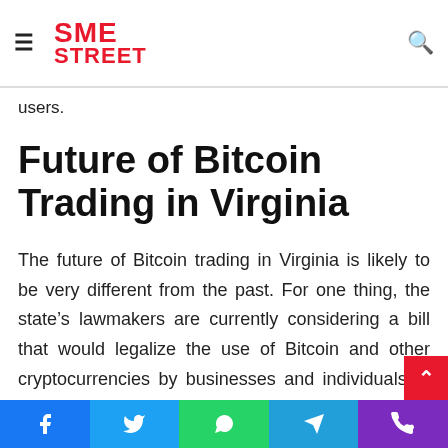SME STREET
users.
Future of Bitcoin Trading in Virginia
The future of Bitcoin trading in Virginia is likely to be very different from the past. For one thing, the state’s lawmakers are currently considering a bill that would legalize the use of Bitcoin and other cryptocurrencies by businesses and individuals. If this bill becomes law, it would make Virginia one of the most cryptocurrency friendly states in the US. This would likely lead to mo